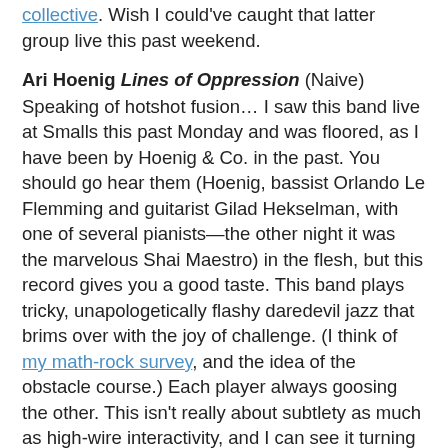collective. Wish I could've caught that latter group live this past weekend.
Ari Hoenig Lines of Oppression (Naive)
Speaking of hotshot fusion… I saw this band live at Smalls this past Monday and was floored, as I have been by Hoenig & Co. in the past. You should go hear them (Hoenig, bassist Orlando Le Flemming and guitarist Gilad Hekselman, with one of several pianists—the other night it was the marvelous Shai Maestro) in the flesh, but this record gives you a good taste. This band plays tricky, unapologetically flashy daredevil jazz that brims over with the joy of challenge. (I think of my math-rock survey, and the idea of the obstacle course.) Each player always goosing the other. This isn't really about subtlety as much as high-wire interactivity, and I can see it turning some people off, but for me it feels like watching great college basketball or something—a constant rush. Very catchy tunes too, most of them Hoenig originals. Check out some samples at Amazon ("Arrows and Loops" will not leave my brain) and a recent live set via Soundcheck.
Honey Ear Trio Steampunk Serenade (Foxhaven)